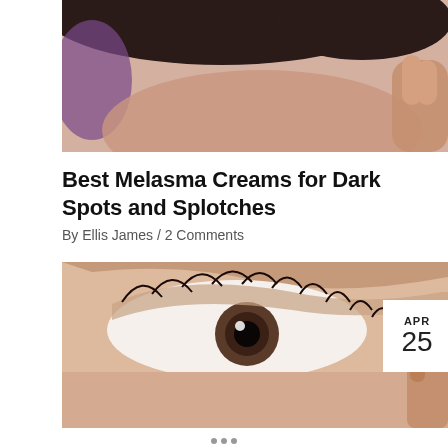[Figure (photo): Close-up photo of a person with dark hair, showing forehead and fingers near their face against a blurred background.]
Best Melasma Creams for Dark Spots and Splotches
By Ellis James / 2 Comments
[Figure (photo): Extreme close-up of an eye with long lashes and smooth skin below, a person applying cosmetic product at the right edge. Date badge shows APR 25.]